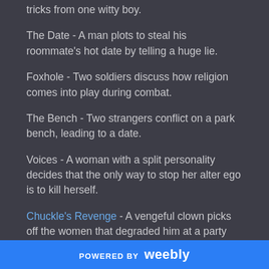tricks from one witty boy.
The Date - A man plots to steal his roommate's hot date by telling a huge lie.
Foxhole - Two soldiers discuss how religion comes into play during combat.
The Bench - Two strangers conflict on a park bench, leading to a date.
Voices - A woman with a split personality decides that the only way to stop her alter ego is to kill herself.
Chuckle's Revenge - A vengeful clown picks off the women that degraded him at a party
POWERED BY weebly